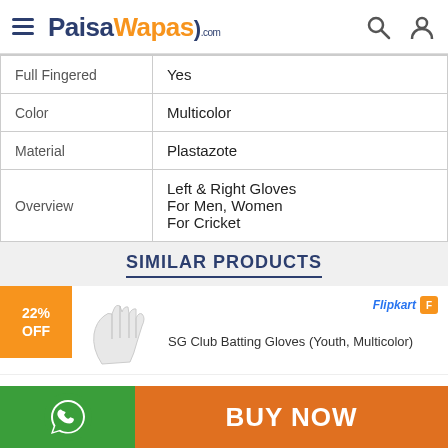PaisaWapas.com
| Full Fingered | Yes |
| Color | Multicolor |
| Material | Plastazote |
| Overview | Left & Right Gloves
For Men, Women
For Cricket |
SIMILAR PRODUCTS
22% OFF
[Figure (photo): Cricket batting glove product image in white]
Flipkart
SG Club Batting Gloves (Youth, Multicolor)
[Figure (logo): WhatsApp icon on green background]
BUY NOW